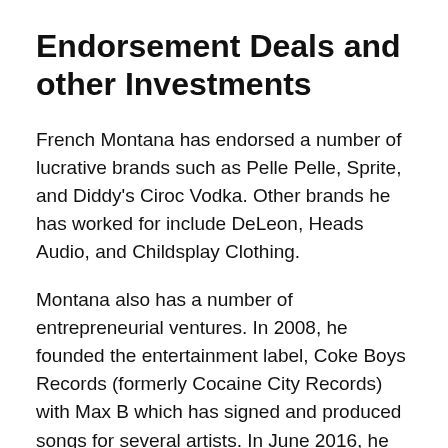Endorsement Deals and other Investments
French Montana has endorsed a number of lucrative brands such as Pelle Pelle, Sprite, and Diddy's Ciroc Vodka. Other brands he has worked for include DeLeon, Heads Audio, and Childsplay Clothing.
Montana also has a number of entrepreneurial ventures. In 2008, he founded the entertainment label, Coke Boys Records (formerly Cocaine City Records) with Max B which has signed and produced songs for several artists. In June 2016, he released the mobile racing game, “Speed Gods”. Despite being a free app, Speed Gods has some paid